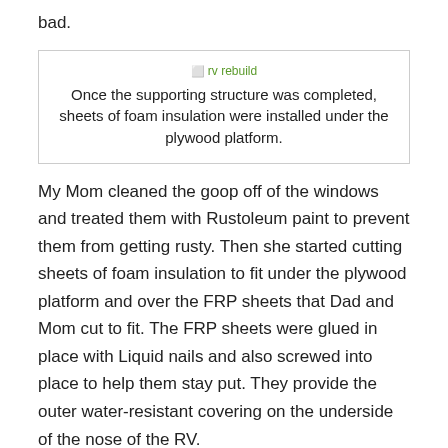bad.
[Figure (photo): Broken image placeholder labeled 'rv rebuild']
Once the supporting structure was completed, sheets of foam insulation were installed under the plywood platform.
My Mom cleaned the goop off of the windows and treated them with Rustoleum paint to prevent them from getting rusty. Then she started cutting sheets of foam insulation to fit under the plywood platform and over the FRP sheets that Dad and Mom cut to fit. The FRP sheets were glued in place with Liquid nails and also screwed into place to help them stay put. They provide the outer water-resistant covering on the underside of the nose of the RV.